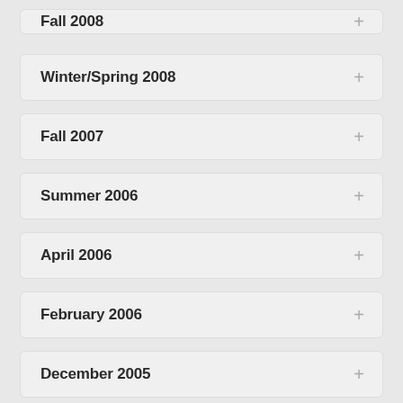Fall 2008
Winter/Spring 2008
Fall 2007
Summer 2006
April 2006
February 2006
December 2005